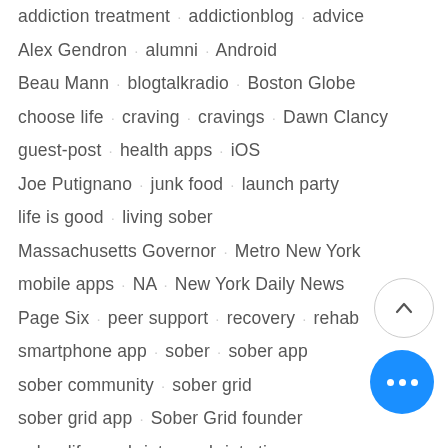addiction treatment   addictionblog   advice
Alex Gendron   alumni   Android
Beau Mann   blogtalkradio   Boston Globe
choose life   craving   cravings   Dawn Clancy
guest-post   health apps   iOS
Joe Putignano   junk food   launch party
life is good   living sober
Massachusetts Governor   Metro New York
mobile apps   NA   New York Daily News
Page Six   peer support   recovery   rehab
smartphone app   sober   sober app
sober community   sober grid
sober grid app   Sober Grid founder
sober life   sobriety   sobriety tips
social media   social network